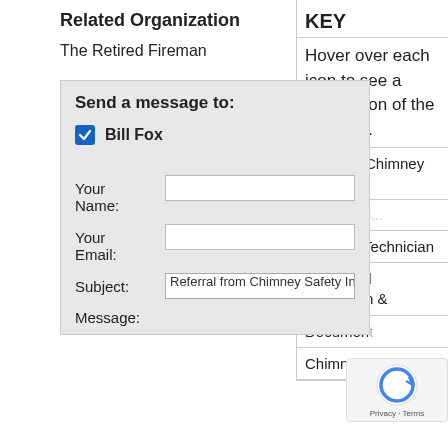Related Organization
The Retired Fireman
Send a message to:
Bill Fox (checked)
Your Name:
Your Email:
Subject: Referral from Chimney Safety Institute o
Message:
KEY
Hover over each icon to see a description of the program.
Certified Chimney Sweep
Certified [partially visible]
Exhaust Technician
Advanced Inspection &
Document
Chimney R